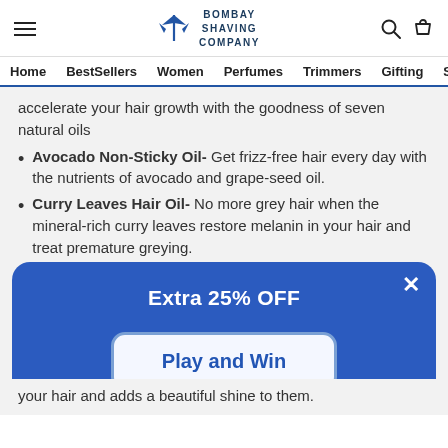Bombay Shaving Company - Home | BestSellers | Women | Perfumes | Trimmers | Gifting | Sh
accelerate your hair growth with the goodness of seven natural oils
Avocado Non-Sticky Oil- Get frizz-free hair every day with the nutrients of avocado and grape-seed oil.
Curry Leaves Hair Oil- No more grey hair when the mineral-rich curry leaves restore melanin in your hair and treat premature greying.
Advanced Castor Oil: The goodness of castor oil, almond ...
[Figure (screenshot): Promotional popup overlay with blue background showing 'Extra 25% OFF' and a 'Play and Win' button with a close X in the top right corner.]
your hair and adds a beautiful shine to them.